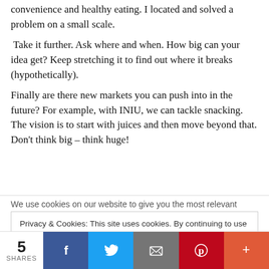convenience and healthy eating. I located and solved a problem on a small scale.
Take it further. Ask where and when. How big can your idea get? Keep stretching it to find out where it breaks (hypothetically).
Finally are there new markets you can push into in the future? For example, with INIU, we can tackle snacking. The vision is to start with juices and then move beyond that. Don’t think big – think huge!
We use cookies on our website to give you the most relevant
Privacy & Cookies: This site uses cookies. By continuing to use this website, you agree to their use.
To find out more, including how to control cookies, see here: Cookie Policy
5 SHARES | Facebook | Twitter | Email | Pinterest | More